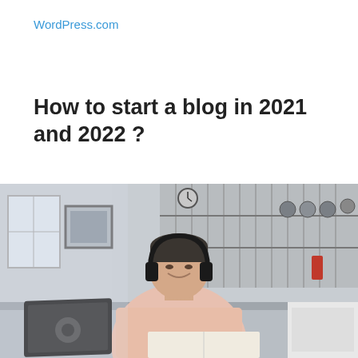WordPress.com
How to start a blog in 2021 and 2022 ?
[Figure (photo): A young man wearing headphones sits smiling at a laptop in a kitchen setting with shelves of pots and pans in the background, holding an open book or magazine.]